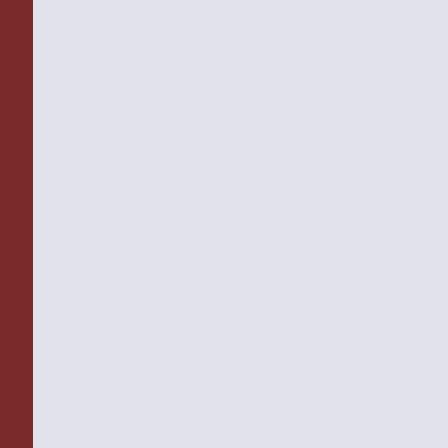What this meant in real terms is illustrated as Vienna prepared to receive Hitler. Unnumbered Nazis tore their city like madpersons, dragging and beating Jews, clubbing and beating victims, desecrating synagogues, raiding Jewish apartments. They compelled Jews to don shawls and stole whatever cash, jewelry... Wisliceny would later write admiringly, "'The Viennese seem to have failed to achieve in the slow-moving boycott... boycott of the Jews does not need org... 134) .
This horror was a prelude to what would happen in cities during the Krystallnacht. Statistics that are not easily matched in previous European history: businesses and homes devastated, 91 ... "Outside [Vienna] so little Jewish pro... pogrom was limited by the success of... raped and plundered, tortured and ma... four distinguished Jews,"(p. 144).
In the context of postwar Austria, Buk... the American zone of occupation espe... of sympathy for nominal party memb... been a 'community of fate' there now...